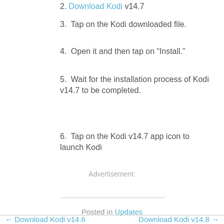2. Download Kodi v14.7
3. Tap on the Kodi downloaded file.
4. Open it and then tap on "Install."
5. Wait for the installation process of Kodi v14.7 to be completed.
6. Tap on the Kodi v14.7 app icon to launch Kodi
Advertisement:
Posted in Updates